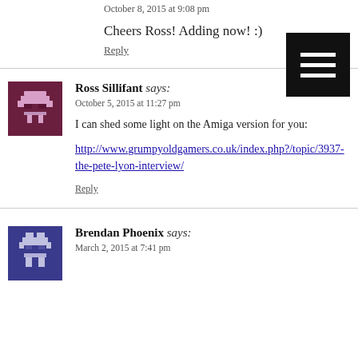October 8, 2015 at 9:08 pm
Cheers Ross! Adding now! :)
Reply
[Figure (other): Black hamburger menu button with three white horizontal lines]
Ross Sillifant says:
October 5, 2015 at 11:27 pm
I can shed some light on the Amiga version for you:
http://www.grumpyoldgamers.co.uk/index.php?/topic/3937-the-pete-lyon-interview/
Reply
Brendan Phoenix says:
March 2, 2015 at 7:41 pm